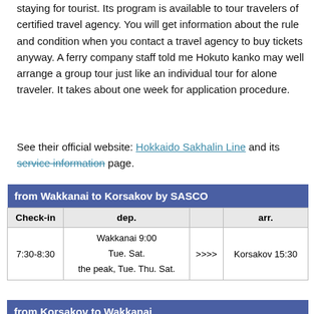staying for tourist. Its program is available to tour travelers of certified travel agency. You will get information about the rule and condition when you contact a travel agency to buy tickets anyway. A ferry company staff told me Hokuto kanko may well arrange a group tour just like an individual tour for alone traveler. It takes about one week for application procedure.
See their official website: Hokkaido Sakhalin Line and its service information page.
| from Wakkanai to Korsakov by SASCO |
| --- |
| Check-in | dep. |  | arr. |
| 7:30-8:30 | Wakkanai 9:00
Tue. Sat.
the peak, Tue. Thu. Sat. | >>>> | Korsakov 15:30 |
| from Korsakov to Wakkanai |
| --- |